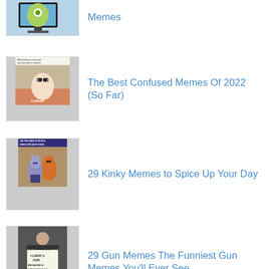[Memes] (partial, top cropped)
[Figure (photo): Thumbnail showing a cartoon monster/character on a computer screen]
The Best Confused Memes Of 2022 (So Far)
[Figure (photo): Thumbnail showing a confused character meme with text about bitcoin crash]
29 Kinky Memes to Spice Up Your Day
[Figure (photo): Thumbnail showing two cartoon animal characters (Zootopia) with text THE TWO KINDS OF PEOPLE WHEN I EXPLAIN MY KINKS]
29 Gun Memes The Funniest Gun Memes You'll Ever See
[Figure (photo): Thumbnail showing a person holding a sign that reads I CARRY A GUN BECAUSE A COP IS TOO HEAVY]